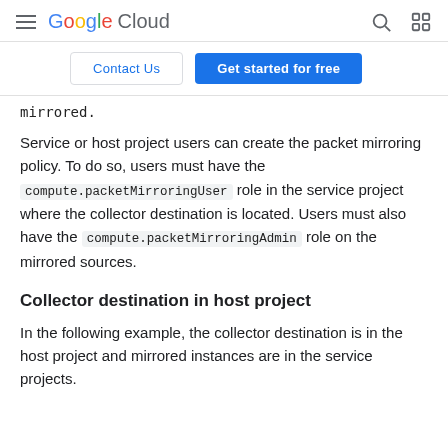Google Cloud
Contact Us | Get started for free
mirrored.
Service or host project users can create the packet mirroring policy. To do so, users must have the compute.packetMirroringUser role in the service project where the collector destination is located. Users must also have the compute.packetMirroringAdmin role on the mirrored sources.
Collector destination in host project
In the following example, the collector destination is in the host project and mirrored instances are in the service projects.